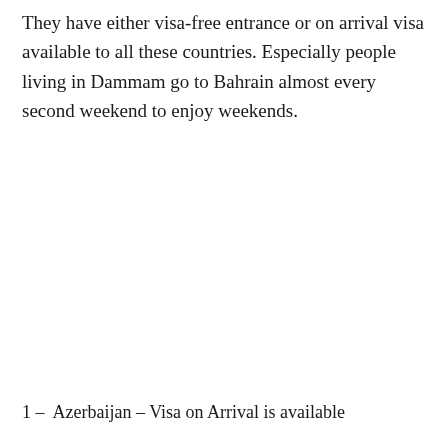They have either visa-free entrance or on arrival visa available to all these countries. Especially people living in Dammam go to Bahrain almost every second weekend to enjoy weekends.
1 –  Azerbaijan – Visa on Arrival is available